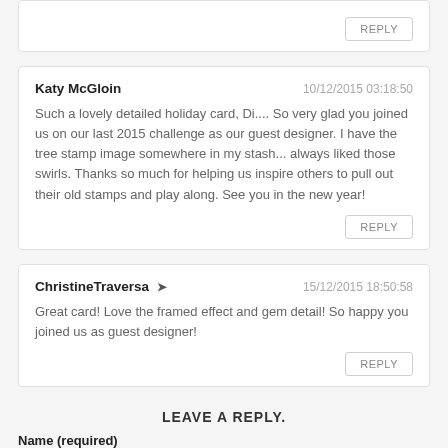REPLY (truncated top comment)
Katy McGloin  10/12/2015 03:18:50
Such a lovely detailed holiday card, Di.... So very glad you joined us on our last 2015 challenge as our guest designer. I have the tree stamp image somewhere in my stash... always liked those swirls. Thanks so much for helping us inspire others to pull out their old stamps and play along. See you in the new year!
REPLY
ChristineTraversa ➤  15/12/2015 18:50:58
Great card! Love the framed effect and gem detail! So happy you joined us as guest designer!
REPLY
LEAVE A REPLY.
Name (required)